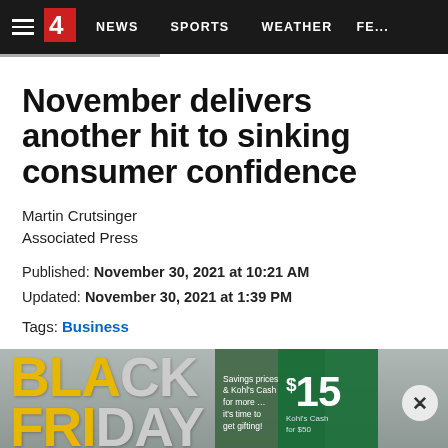NEWS | SPORTS | WEATHER | FE...
November delivers another hit to sinking consumer confidence
Martin Crutsinger
Associated Press
Published: November 30, 2021 at 10:21 AM
Updated: November 30, 2021 at 1:39 PM
Tags: Business
[Figure (photo): Black Friday sale signage at a store, showing 'BLACK FRIDAY' in large yellow letters, Kohl's Cash promotional signs]
[Figure (other): Advertisement banner: JAX BEST, PRESENTED BY Visit Jacksonville and the Beaches]